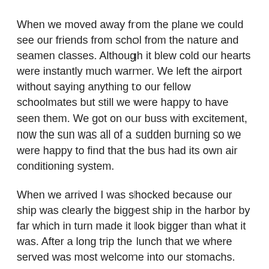When we moved away from the plane we could see our friends from schol from the nature and seamen classes. Although it blew cold our hearts were instantly much warmer. We left the airport without saying anything to our fellow schoolmates but still we were happy to have seen them. We got on our buss with excitement, now the sun was all of a sudden burning so we were happy to find that the bus had its own air conditioning system.
When we arrived I was shocked because our ship was clearly the biggest ship in the harbor by far which in turn made it look bigger than what it was. After a long trip the lunch that we where served was most welcome into our stomachs.
After lunch we had about an hour of free time before we were to be inspected by our ranking staff on the main deck. The Captain was a serious man, however